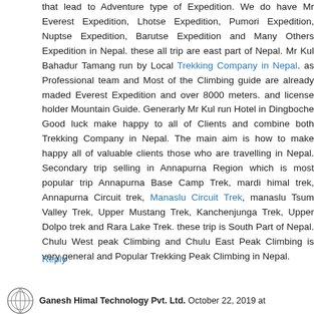that lead to Adventure type of Expedition. We do have Mr Everest Expedition, Lhotse Expedition, Pumori Expedition, Nuptse Expedition, Barutse Expedition and Many Others Expedition in Nepal. these all trip are east part of Nepal. Mr Kul Bahadur Tamang run by Local Trekking Company in Nepal. as Professional team and Most of the Climbing guide are already maded Everest Expedition and over 8000 meters. and license holder Mountain Guide. Generarly Mr Kul run Hotel in Dingboche Good luck make happy to all of Clients and combine both Trekking Company in Nepal. The main aim is how to make happy all of valuable clients those who are travelling in Nepal. Secondary trip selling in Annapurna Region which is most popular trip Annapurna Base Camp Trek, mardi himal trek, Annapurna Circuit trek, Manaslu Circuit Trek, manaslu Tsum Valley Trek, Upper Mustang Trek, Kanchenjunga Trek, Upper Dolpo trek and Rara Lake Trek. these trip is South Part of Nepal. Chulu West peak Climbing and Chulu East Peak Climbing is very general and Popular Trekking Peak Climbing in Nepal.
Reply
Ganesh Himal Technology Pvt. Ltd. October 22, 2019 at